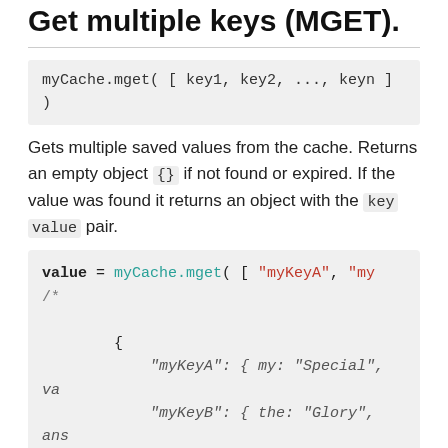Get multiple keys (MGET).
myCache.mget( [ key1, key2, ..., keyn ] )
Gets multiple saved values from the cache. Returns an empty object {} if not found or expired. If the value was found it returns an object with the key value pair.
value = myCache.mget( [ "myKeyA", "my...
/*
    {
        "myKeyA": { my: "Special", va...
        "myKeyB": { the: "Glory", ans...
    }
*/